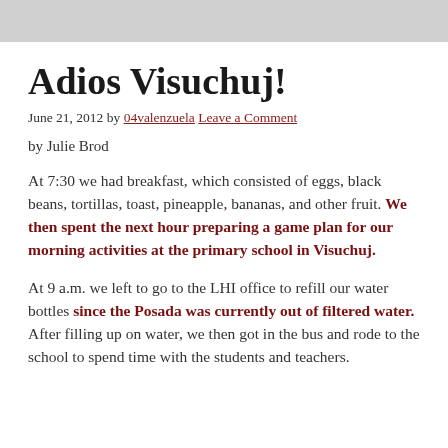Adios Visuchuj!
June 21, 2012 by 04valenzuela Leave a Comment
by Julie Brod
At 7:30 we had breakfast, which consisted of eggs, black beans, tortillas, toast, pineapple, bananas, and other fruit. We then spent the next hour preparing a game plan for our morning activities at the primary school in Visuchuj.
At 9 a.m. we left to go to the LHI office to refill our water bottles since the Posada was currently out of filtered water. After filling up on water, we then got in the bus and rode to the school to spend time with the students and teachers.